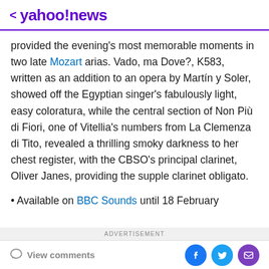< yahoo!news
provided the evening's most memorable moments in two late Mozart arias. Vado, ma Dove?, K583, written as an addition to an opera by Martín y Soler, showed off the Egyptian singer's fabulously light, easy coloratura, while the central section of Non Più di Fiori, one of Vitellia's numbers from La Clemenza di Tito, revealed a thrilling smoky darkness to her chest register, with the CBSO's principal clarinet, Oliver Janes, providing the supple clarinet obligato.
• Available on BBC Sounds until 18 February
ADVERTISEMENT
View comments